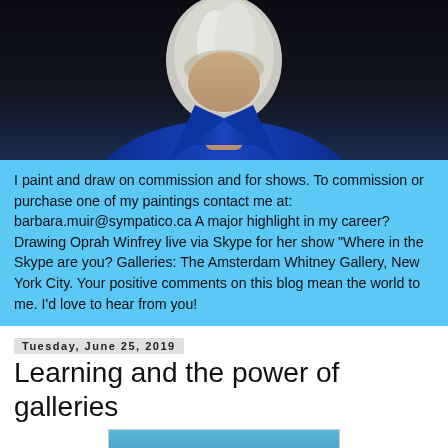[Figure (photo): Portrait photo of a woman with white/blonde hair wearing a blue jacket and pearl necklace, photographed against a dark background, showing neck and upper torso]
I paint and draw on commission and for shows. To commission or purchase one of my paintings contact me at: barbara.muir@sympatico.ca A major highlight in my career? Drawing Oprah Winfrey live via Skype for her show "Where in the Skype are you? Galleries: The Amsterdam Whitney Gallery, New York City. Your positive comments on this blog mean the world to me. I'd love to hear from you!
Tuesday, June 25, 2019
Learning and the power of galleries
[Figure (photo): Partial view of a colorful painting showing swimmers or figures in water with blue, red, and white colors]